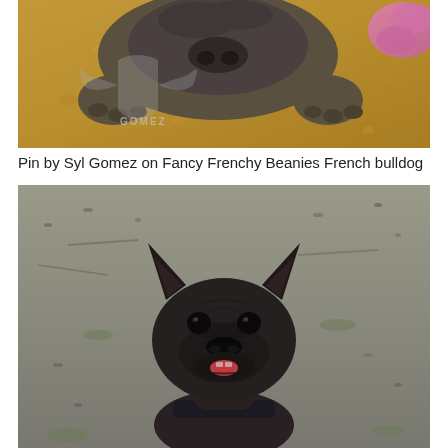[Figure (photo): Close-up photo of a French bulldog lying on a fluffy tan/golden blanket, face resting flat on the surface, viewed from above. A 'GOMEZ' watermark logo with wings is visible in the lower left area of the image. A pink/purple fluffy item is visible in the upper right corner.]
Pin by Syl Gomez on Fancy Frenchy Beanies French bulldog
[Figure (photo): Photo of a dark brindle/black French bulldog puppy facing the camera with ears perked up, tongue slightly visible, wearing a dark collar. The dog is sitting outdoors on a ground covered with gravel, dirt, and sparse grass, with some sticks or debris visible in the background.]